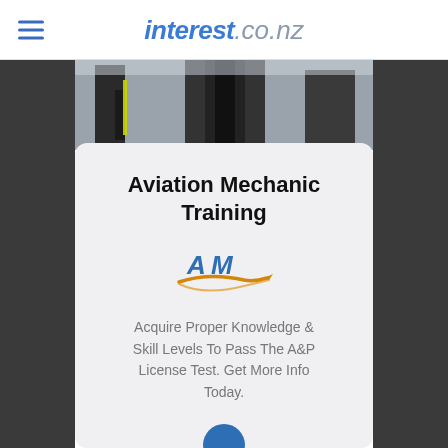interest.co.nz
[Figure (photo): Aviation mechanic working near aircraft landing gear, viewed from below]
Aviation Mechanic Training
[Figure (logo): AM Aviation Mechanic logo with orange swoosh/wing graphic]
Acquire Proper Knowledge & Skill Levels To Pass The A&P License Test. Get More Info Today.